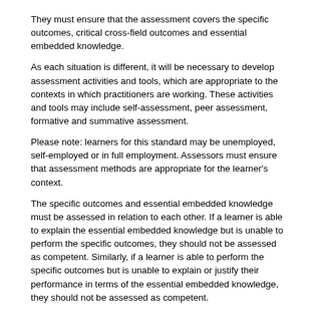They must ensure that the assessment covers the specific outcomes, critical cross-field outcomes and essential embedded knowledge.
As each situation is different, it will be necessary to develop assessment activities and tools, which are appropriate to the contexts in which practitioners are working. These activities and tools may include self-assessment, peer assessment, formative and summative assessment.
Please note: learners for this standard may be unemployed, self-employed or in full employment. Assessors must ensure that assessment methods are appropriate for the learner's context.
The specific outcomes and essential embedded knowledge must be assessed in relation to each other. If a learner is able to explain the essential embedded knowledge but is unable to perform the specific outcomes, they should not be assessed as competent. Similarly, if a learner is able to perform the specific outcomes but is unable to explain or justify their performance in terms of the essential embedded knowledge, they should not be assessed as competent.
METHOD OF ASSESSMENT
Assessment should include practical demonstration of competence, either in the workplace or through work-related, out-of-classroom simulation.
A range of assessment methods should be used, including:
Direct observation - watch the learner carry out the task or produce a desired outcome during the course of his or her normal work under normal workplace conditions
Product sample - examine the outcomes previously produced by the learner.